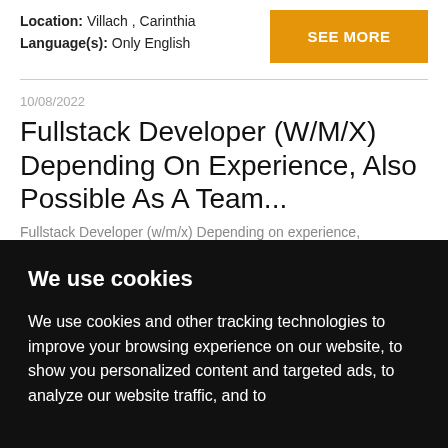(w/m/div) At a glance Do you want to:.....
Location: Villach , Carinthia
Language(s): Only English
SEE MORE
10/08/2022
Fullstack Developer (W/M/X) Depending On Experience, Also Possible As A Team...
Fullstack Developer (w/m/x) Depending on experience, also possible as a team...
We use cookies
We use cookies and other tracking technologies to improve your browsing experience on our website, to show you personalized content and targeted ads, to analyze our website traffic, and to understand where our visitors come from.